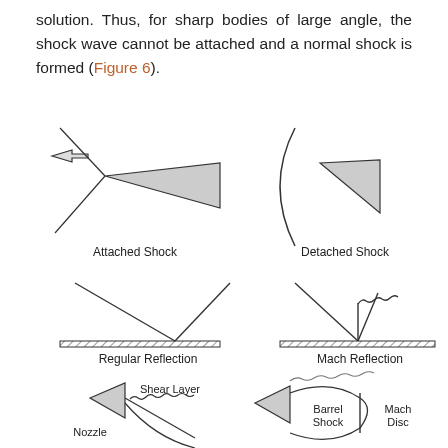solution. Thus, for sharp bodies of large angle, the shock wave cannot be attached and a normal shock is formed (Figure 6).
[Figure (illustration): Six diagrams showing different shock wave configurations: Attached Shock (sharp wedge with oblique shock lines), Detached Shock (blunt body with curved detached shock), Regular Reflection (two oblique shocks reflecting off flat surface), Mach Reflection (oblique shock with Mach stem and zigzag shear layer), and two partially visible diagrams at the bottom showing Nozzle with Shear Layer, and Barrel Shock with Mach Disc.]